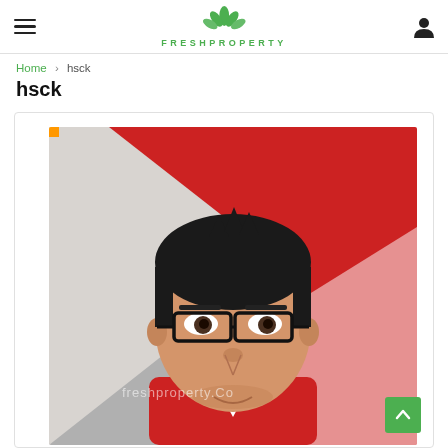FRESHPROPERTY
Home > hsck
hsck
[Figure (photo): Profile photo of a man wearing glasses and a red jacket, in front of a red and white background. Watermark reads 'freshproperty.Co']